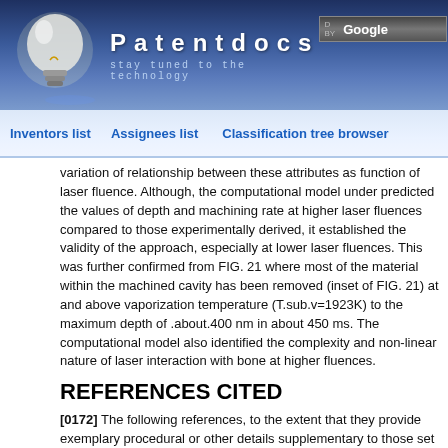[Figure (logo): Patentdocs website header with light bulb logo, site name 'Patentdocs', tagline 'stay tuned to the technology', Google search box and Search button]
Inventors list   Assignees list   Classification tree browser
variation of relationship between these attributes as function of laser fluence. Although, the computational model under predicted the values of depth and machining rate at higher laser fluences compared to those experimentally derived, it established the validity of the approach, especially at lower laser fluences. This was further confirmed from FIG. 21 where most of the material within the machined cavity has been removed (inset of FIG. 21) at and above vaporization temperature (T.sub.v=1923K) to the maximum depth of .about.400 nm in about 450 ms. The computational model also identified the complexity and non-linear nature of laser interaction with bone at higher fluences.
REFERENCES CITED
[0172] The following references, to the extent that they provide exemplary procedural or other details supplementary to those set forth herein, are specifically incorporated herein by reference